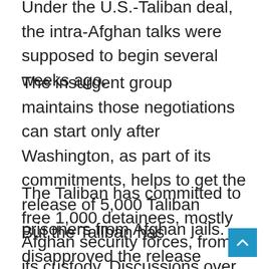Under the U.S.-Taliban deal, the intra-Afghan talks were supposed to begin several weeks ago.
The insurgent group maintains those negotiations can start only after Washington, as part of its commitments, helps to get the release of 5,000 Taliban prisoners from Afghan jails.
The Taliban has committed to free 1,000 detainees, mostly Afghan security forces, from its custody. Discussions over the prisoner swap collapsed earlier this week, although the Afghan government has since freed 200 Taliban detainees after seeking written assurances the freed men would not return to the battlefield.
But the Taliban has disapproved the release